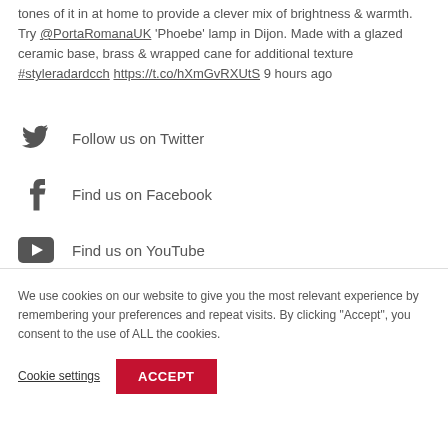tones of it in at home to provide a clever mix of brightness & warmth. Try @PortaRomanaUK 'Phoebe' lamp in Dijon. Made with a glazed ceramic base, brass & wrapped cane for additional texture #styleradardcch https://t.co/hXmGvRXUtS 9 hours ago
Follow us on Twitter
Find us on Facebook
Find us on YouTube
We use cookies on our website to give you the most relevant experience by remembering your preferences and repeat visits. By clicking "Accept", you consent to the use of ALL the cookies.